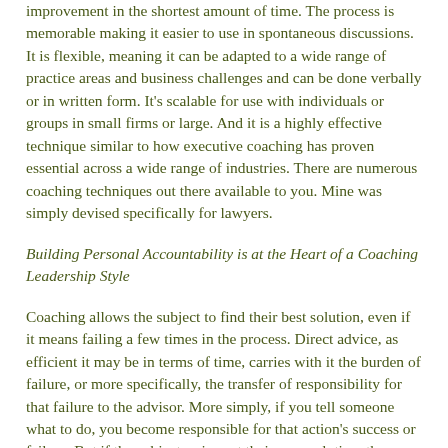improvement in the shortest amount of time. The process is memorable making it easier to use in spontaneous discussions. It is flexible, meaning it can be adapted to a wide range of practice areas and business challenges and can be done verbally or in written form. It's scalable for use with individuals or groups in small firms or large. And it is a highly effective technique similar to how executive coaching has proven essential across a wide range of industries. There are numerous coaching techniques out there available to you. Mine was simply devised specifically for lawyers.
Building Personal Accountability is at the Heart of a Coaching Leadership Style
Coaching allows the subject to find their best solution, even if it means failing a few times in the process. Direct advice, as efficient it may be in terms of time, carries with it the burden of failure, or more specifically, the transfer of responsibility for that failure to the advisor. More simply, if you tell someone what to do, you become responsible for that action's success or failure. But if the subject arrives at their own solution, they assume full responsibility for its success.